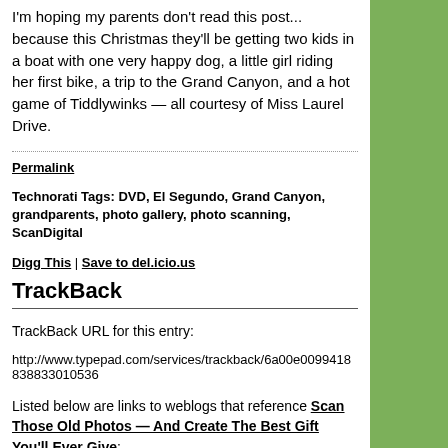I'm hoping my parents don't read this post... because this Christmas they'll be getting two kids in a boat with one very happy dog, a little girl riding her first bike, a trip to the Grand Canyon, and a hot game of Tiddlywinks — all courtesy of Miss Laurel Drive.
Permalink
Technorati Tags: DVD, El Segundo, Grand Canyon, grandparents, photo gallery, photo scanning, ScanDigital
Digg This | Save to del.icio.us
TrackBack
TrackBack URL for this entry:
http://www.typepad.com/services/trackback/6a00e0099418838833010536
Listed below are links to weblogs that reference Scan Those Old Photos — And Create The Best Gift You'll Ever Give:
Comment below or sign in with Typepad Facebook Twitter and more...